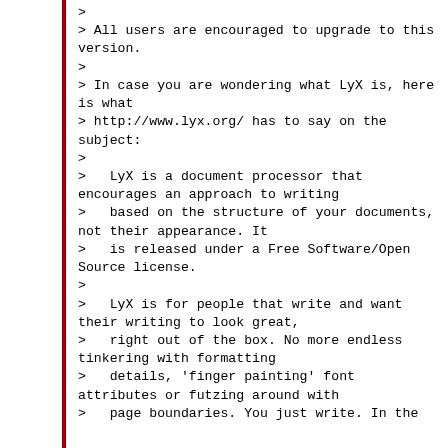>
> All users are encouraged to upgrade to this version.
>
> In case you are wondering what LyX is, here is what
> http://www.lyx.org/ has to say on the subject:
>
>   LyX is a document processor that encourages an approach to writing
>   based on the structure of your documents, not their appearance. It
>   is released under a Free Software/Open Source license.
>
>   LyX is for people that write and want their writing to look great,
>   right out of the box. No more endless tinkering with formatting
>   details, 'finger painting' font attributes or futzing around with
>   page boundaries. You just write. In the